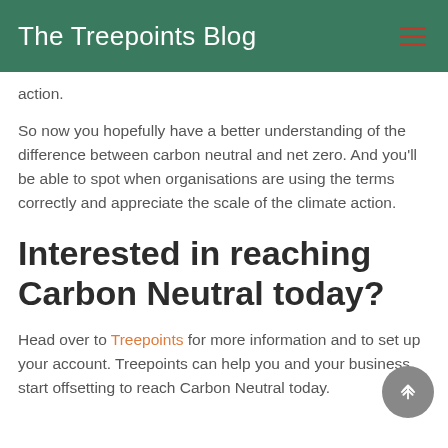The Treepoints Blog
action.
So now you hopefully have a better understanding of the difference between carbon neutral and net zero. And you'll be able to spot when organisations are using the terms correctly and appreciate the scale of the climate action.
Interested in reaching Carbon Neutral today?
Head over to Treepoints for more information and to set up your account. Treepoints can help you and your business start offsetting to reach Carbon Neutral today.